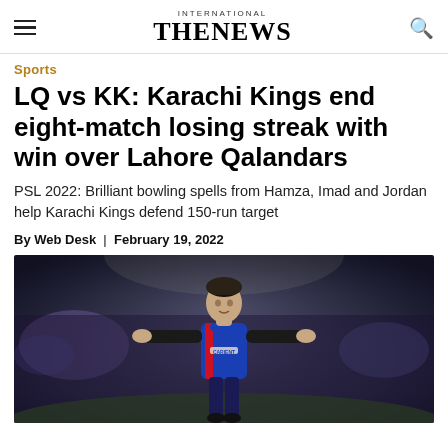INTERNATIONAL THE NEWS
Sports
LQ vs KK: Karachi Kings end eight-match losing streak with win over Lahore Qalandars
PSL 2022: Brilliant bowling spells from Hamza, Imad and Jordan help Karachi Kings defend 150-run target
By Web Desk | February 19, 2022
[Figure (photo): A Karachi Kings cricket player in blue and red jersey with arms outstretched celebrating on the field, stadium crowd visible in background]